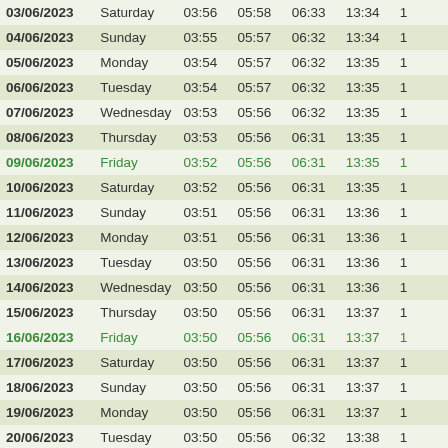| Date | Day | Col3 | Col4 | Col5 | Col6 | Col7 |
| --- | --- | --- | --- | --- | --- | --- |
| 03/06/2023 | Saturday | 03:56 | 05:58 | 06:33 | 13:34 | 1 |
| 04/06/2023 | Sunday | 03:55 | 05:57 | 06:32 | 13:34 | 1 |
| 05/06/2023 | Monday | 03:54 | 05:57 | 06:32 | 13:35 | 1 |
| 06/06/2023 | Tuesday | 03:54 | 05:57 | 06:32 | 13:35 | 1 |
| 07/06/2023 | Wednesday | 03:53 | 05:56 | 06:32 | 13:35 | 1 |
| 08/06/2023 | Thursday | 03:53 | 05:56 | 06:31 | 13:35 | 1 |
| 09/06/2023 | Friday | 03:52 | 05:56 | 06:31 | 13:35 | 1 |
| 10/06/2023 | Saturday | 03:52 | 05:56 | 06:31 | 13:35 | 1 |
| 11/06/2023 | Sunday | 03:51 | 05:56 | 06:31 | 13:36 | 1 |
| 12/06/2023 | Monday | 03:51 | 05:56 | 06:31 | 13:36 | 1 |
| 13/06/2023 | Tuesday | 03:50 | 05:56 | 06:31 | 13:36 | 1 |
| 14/06/2023 | Wednesday | 03:50 | 05:56 | 06:31 | 13:36 | 1 |
| 15/06/2023 | Thursday | 03:50 | 05:56 | 06:31 | 13:37 | 1 |
| 16/06/2023 | Friday | 03:50 | 05:56 | 06:31 | 13:37 | 1 |
| 17/06/2023 | Saturday | 03:50 | 05:56 | 06:31 | 13:37 | 1 |
| 18/06/2023 | Sunday | 03:50 | 05:56 | 06:31 | 13:37 | 1 |
| 19/06/2023 | Monday | 03:50 | 05:56 | 06:31 | 13:37 | 1 |
| 20/06/2023 | Tuesday | 03:50 | 05:56 | 06:32 | 13:38 | 1 |